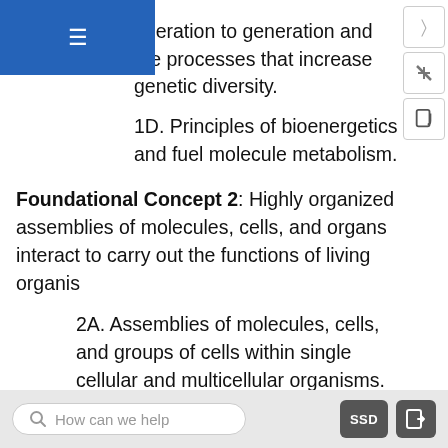eneration to generation and the processes that increase genetic diversity.
1D. Principles of bioenergetics and fuel molecule metabolism.
Foundational Concept 2: Highly organized assemblies of molecules, cells, and organs interact to carry out the functions of living organis
2A. Assemblies of molecules, cells, and groups of cells within single cellular and multicellular organisms.
2B. The structure, growth, physiology, and genetics of prokaryotes and viruses.
2C. Processes of cell division, differentiation, and
How can we help